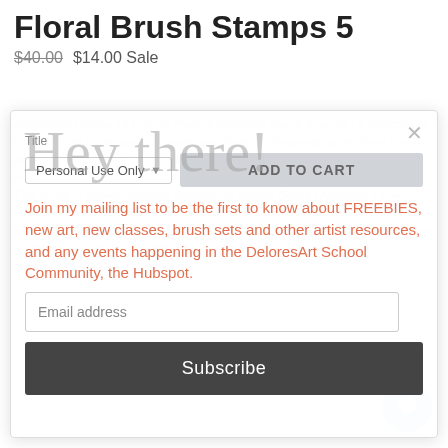Floral Brush Stamps 5
$40.00  $14.00 Sale
Hey there!
Join my mailing list to be the first to know about FREEBIES, new art, new classes, brush sets and other artist resources, and any events happening in the DeloresArt School Community, the Hubspot.
Email address
Subscribe
Introducing Volume 29 Line Art Floral 5 Procreate Stamp Brushes - a collection of line art motifs (or illustrations made specifically for Procreate on the iPad! Over 20 stamps of flowers are included, both in positive and negative form. I have also included a set of 10 watercolour brushes to create an authentic watercolour look. This is one of several Volumes designed by myself, Delores Naskrent. I even teach fun Skillshare classes on how to produce this fabulous art. See a demonstration for creating the watercolour look, and examples here (2 weeks free on Skillshare with this link: https://www.skillshare.com/r/profile/Delores-Naskrent/3656902):